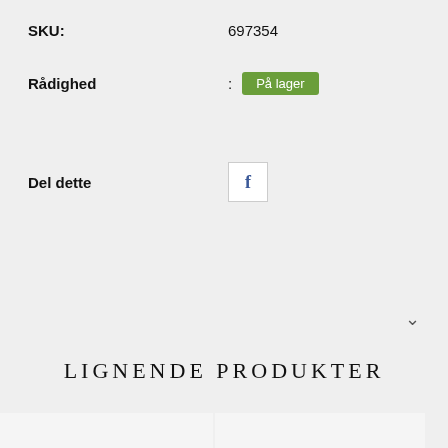SKU: 697354
Rådighed : På lager
Del dette
LIGNENDE PRODUKTER
[Figure (photo): Red-handled needle-nose pliers on white background]
[Figure (photo): Silver curb chain bracelet on white background]